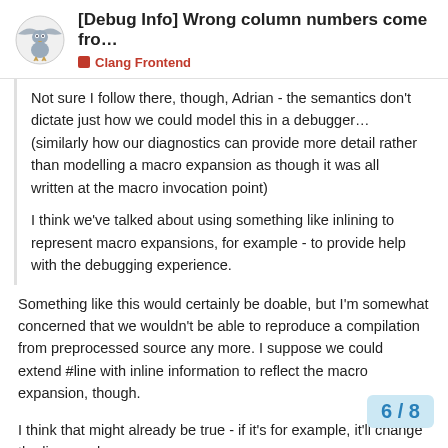[Debug Info] Wrong column numbers come fro... | Clang Frontend
Not sure I follow there, though, Adrian - the semantics don't dictate just how we could model this in a debugger… (similarly how our diagnostics can provide more detail rather than modelling a macro expansion as though it was all written at the macro invocation point)
I think we've talked about using something like inlining to represent macro expansions, for example - to provide help with the debugging experience.
Something like this would certainly be doable, but I'm somewhat concerned that we wouldn't be able to reproduce a compilation from preprocessed source any more. I suppose we could extend #line with inline information to reflect the macro expansion, though.
I think that might already be true - if it's for example, it'll change the line numbe